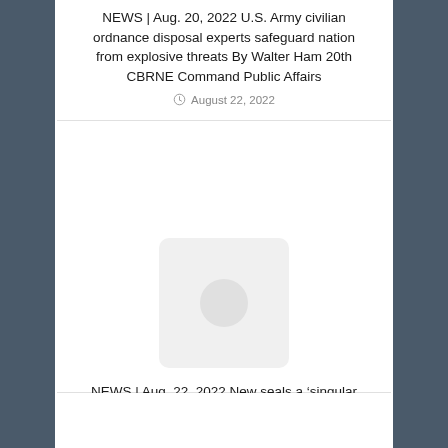NEWS | Aug. 20, 2022 U.S. Army civilian ordnance disposal experts safeguard nation from explosive threats By Walter Ham 20th CBRNE Command Public Affairs
August 22, 2022
[Figure (photo): Placeholder image with light gray background and circle]
NEWS | Aug. 22, 2022 New seals a ‘singular representation’ of Army, Air Guard National Guard Bureau, Office of Public Affairs
August 22, 2022